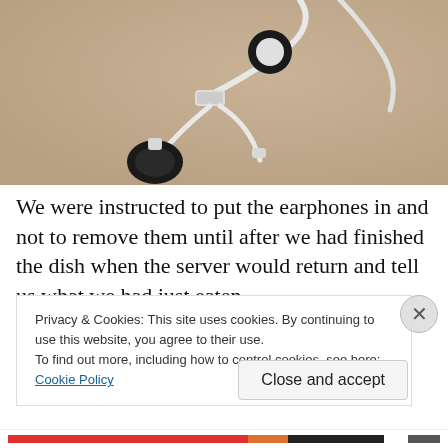[Figure (photo): Close-up photograph of white earphones with black foam ear cushions and white cable on a beige/tan surface]
We were instructed to put the earphones in and not to remove them until after we had finished the dish when the server would return and tell us what we had just eaten
Privacy & Cookies: This site uses cookies. By continuing to use this website, you agree to their use.
To find out more, including how to control cookies, see here: Cookie Policy
Close and accept